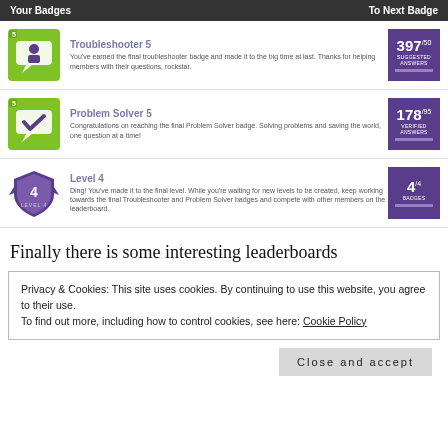Your Badges | To Next Badge
[Figure (illustration): Troubleshooter 5 badge icon - green speech bubble with person silhouette, level 5]
Troubleshooter 5
You've earned the final troubleshooter badge and made it to the big time at last. Thanks for helping members with their questions, rockstar.
[Figure (infographic): Purple stat box showing 397/50 Suggested Answers with progress bar]
[Figure (illustration): Problem Solver 5 badge icon - green speech bubble with checkmark, level 5]
Problem Solver 5
Congratulations on reaching the final Problem Solver badge. Solving problems and saving the world, one question at a time!
[Figure (infographic): Purple stat box showing 178/95 Verified Answers with progress bar]
[Figure (illustration): Level 4 badge icon - purple shield with number 4]
Level 4
Ding! You've made it to the final level. While you're waiting for new levels to be created, keep working towards the final Troubleshooter and Problem Solver badges and compete with other members on the leaderboard.
[Figure (infographic): Purple stat box showing 4/4 Badges with progress bar]
Finally there is some interesting leaderboards
Privacy & Cookies: This site uses cookies. By continuing to use this website, you agree to their use.
To find out more, including how to control cookies, see here: Cookie Policy
Close and accept